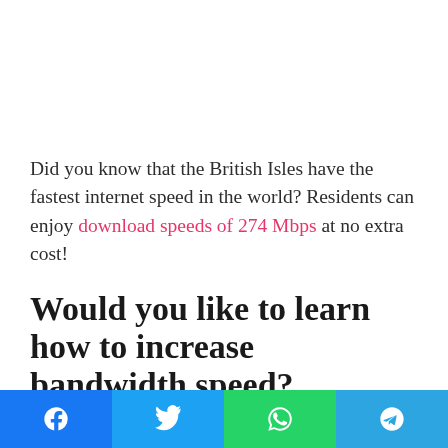Did you know that the British Isles have the fastest internet speed in the world? Residents can enjoy download speeds of 274 Mbps at no extra cost!
Would you like to learn how to increase bandwidth speed?
If so, in today's post, we'll go through some tips
[Figure (infographic): Social media sharing bar at the bottom with four buttons: Facebook (blue), Twitter (light blue), WhatsApp (green), Telegram (blue)]